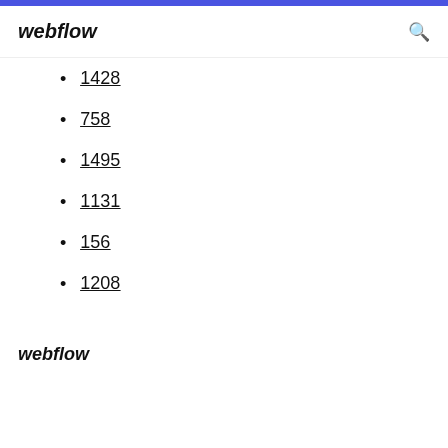webflow
1428
758
1495
1131
156
1208
webflow